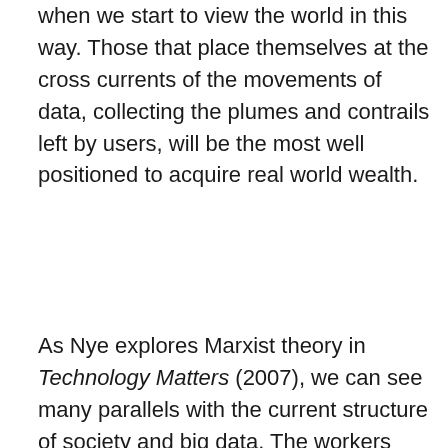when we start to view the world in this way. Those that place themselves at the cross currents of the movements of data, collecting the plumes and contrails left by users, will be the most well positioned to acquire real world wealth.
As Nye explores Marxist theory in Technology Matters (2007), we can see many parallels with the current structure of society and big data. The workers have become the nodes and contributors of the dataset and the machinery is big data itself. Marx predicted the fall of capitalism due to “mechanization producing greater surpluses [than demand]”. In part he may have been right. As more people understand the dataset, another level of equality could arise, potentially resulting in a new economic paradigm of collaborative consumerism. However, in this digital revolution we will have data barons